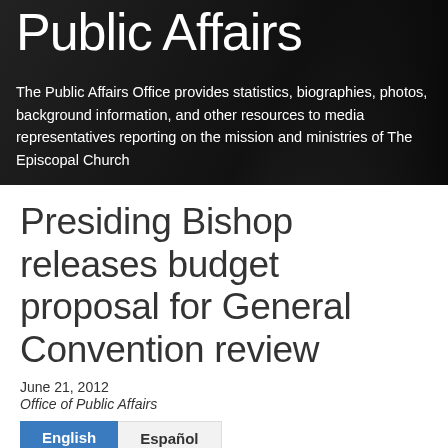[Figure (photo): Dark background hero image with partially visible person in black, for an Episcopal Church Public Affairs header]
Public Affairs
The Public Affairs Office provides statistics, biographies, photos, background information, and other resources to media representatives reporting on the mission and ministries of The Episcopal Church
Presiding Bishop releases budget proposal for General Convention review
June 21, 2012
Office of Public Affairs
English   Español
Presiding Bishop releases budget proposal for...